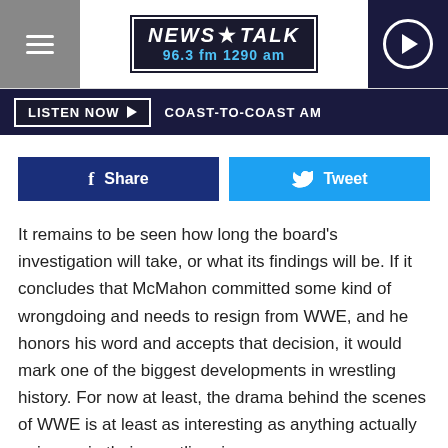[Figure (logo): News Talk 96.3 fm 1290 am logo with hamburger menu and play button]
LISTEN NOW  COAST-TO-COAST AM
[Figure (infographic): Facebook Share button and Twitter Tweet button]
It remains to be seen how long the board's investigation will take, or what its findings will be. If it concludes that McMahon committed some kind of wrongdoing and needs to resign from WWE, and he honors his word and accepts that decision, it would mark one of the biggest developments in wrestling history. For now at least, the drama behind the scenes of WWE is at least as interesting as anything actually going on in their wrestling ring.
Or maybe not — shortly after the WWE's announcement, the